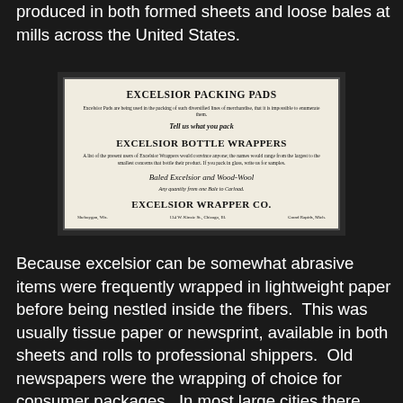produced in both formed sheets and loose bales at mills across the United States.
[Figure (photo): Vintage advertisement for Excelsior Packing Pads, Excelsior Bottle Wrappers, Baled Excelsior and Wood-Wool, by Excelsior Wrapper Co. with offices in Sheboygan Wis., Chicago Ill., and Grand Rapids Mich.]
Because excelsior can be somewhat abrasive items were frequently wrapped in lightweight paper before being nestled inside the fibers.  This was usually tissue paper or newsprint, available in both sheets and rolls to professional shippers.  Old newspapers were the wrapping of choice for consumer packages.  In most large cities there were multiple papers printing both a morning and evening edition, so there was a huge supply available for recycling.